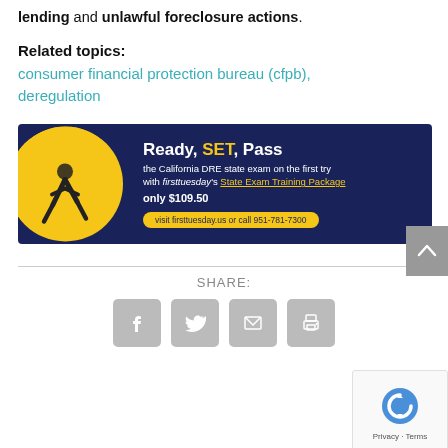lending and unlawful foreclosure actions.
Related topics:
consumer financial protection bureau (cfpb), deregulation
[Figure (illustration): Advertisement banner for firsttuesday State Exam Training Package. Dark navy background with yellow circle containing a runner. Text: Ready, SET, Pass the California DRE state exam on the first try with firsttuesday's State Exam Training Package only $109.50. visit firsttuesday.us or call 951-781-7300]
SHARE:
[Figure (other): Social share icons: Facebook, Twitter, Email, Print]